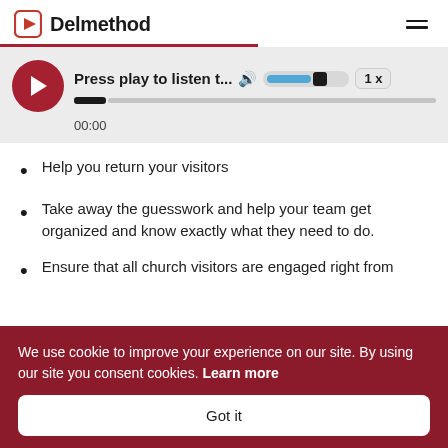Delmethod
[Figure (screenshot): Audio player with red play button, title 'Press play to listen t...', speaker icon, volume control bar, speed control showing '1x', progress bar, and time display '00:00']
Help you return your visitors
Take away the guesswork and help your team get organized and know exactly what they need to do.
Ensure that all church visitors are engaged right from
We use cookie to improve your experience on our site. By using our site you consent cookies. Learn more
Got it